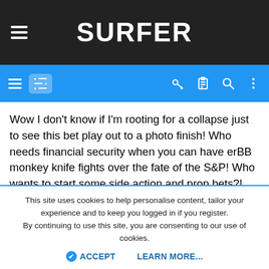SURFER
[Figure (screenshot): Blue navigation bar with hamburger menu, filter/sliders icon on left; key, clipboard, search, and more icons on right]
Wow I don't know if I'm rooting for a collapse just to see this bet play out to a photo finish! Who needs financial security when you can have erBB monkey knife fights over the fate of the S&P! Who wants to start some side action and prop bets?!
Mr Doof
Duke status
This site uses cookies to help personalise content, tailor your experience and to keep you logged in if you register.
By continuing to use this site, you are consenting to our use of cookies.
✔ ACCEPT   LEARN MORE...